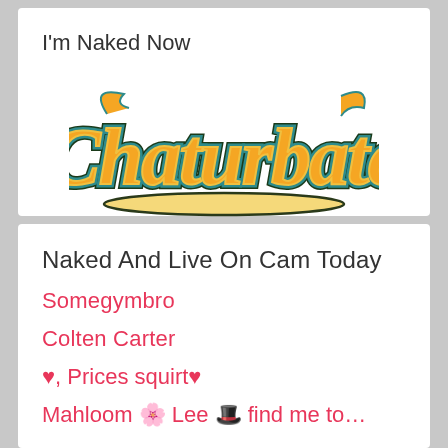I'm Naked Now
[Figure (logo): Chaturbate logo — orange and yellow cursive lettering with teal/dark blue outline on a white background, with a curved underline]
Sign Up Here
Naked And Live On Cam Today
Somegymbro
Colten Carter
♥, Prices squirt♥
Mahloom 🌸 Lee 🎩 find me to...